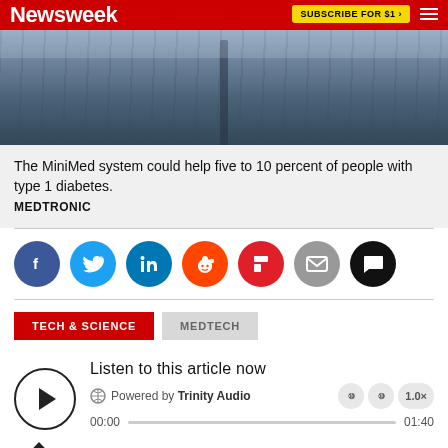Newsweek | SUBSCRIBE FOR $1
[Figure (photo): Close-up photo of denim jeans waistband area, grey/blue tones]
The MiniMed system could help five to 10 percent of people with type 1 diabetes.
MEDTRONIC
[Figure (infographic): Social sharing icons: Facebook, Twitter, LinkedIn, Reddit, Flipboard, Email, Comments]
[Figure (infographic): Category tags: TECH & SCIENCE (red), MEDTECH (gray)]
[Figure (infographic): Audio player: Listen to this article now. Powered by Trinity Audio. 00:00 / 01:40]